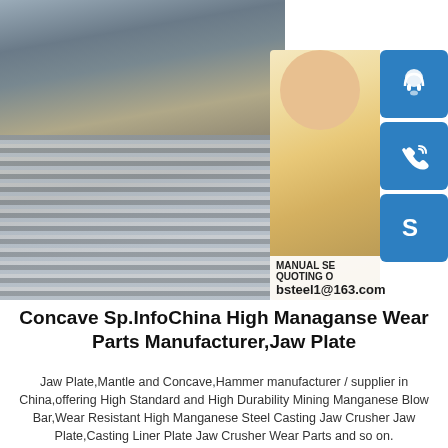[Figure (photo): Industrial factory interior showing stacked steel plates/sheets on the floor, with large warehouse structure visible. A female customer service representative is overlaid on the right side of the image. Blue icon buttons (headset, phone, Skype) are on the far right. Text overlay shows 'MANUAL SE...', 'QUOTING O...', 'bsteel1@163.com']
Concave Sp.InfoChina High Managanse Wear Parts Manufacturer,Jaw Plate
Jaw Plate,Mantle and Concave,Hammer manufacturer / supplier in China,offering High Standard and High Durability Mining Manganese Blow Bar,Wear Resistant High Manganese Steel Casting Jaw Crusher Jaw Plate,Casting Liner Plate Jaw Crusher Wear Parts and so on.